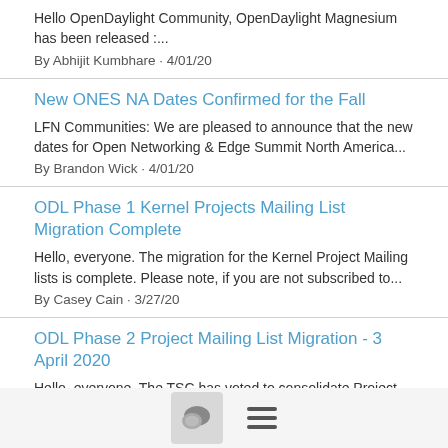Hello OpenDaylight Community, OpenDaylight Magnesium has been released :...
By Abhijit Kumbhare · 4/01/20
New ONES NA Dates Confirmed for the Fall
LFN Communities: We are pleased to announce that the new dates for Open Networking & Edge Summit North America...
By Brandon Wick · 4/01/20
ODL Phase 1 Kernel Projects Mailing List Migration Complete
Hello, everyone. The migration for the Kernel Project Mailing lists is complete. Please note, if you are not subscribed to...
By Casey Cain · 3/27/20
ODL Phase 2 Project Mailing List Migration - 3 April 2020
Hello, everyone. The TSC has voted to consolidate Project Mailing Lists to improve list management...